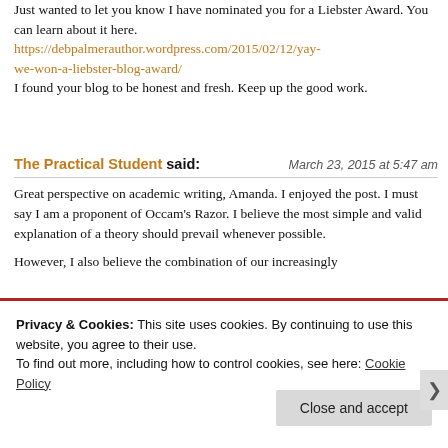Just wanted to let you know I have nominated you for a Liebster Award. You can learn about it here. https://debpalmerauthor.wordpress.com/2015/02/12/yay-we-won-a-liebster-blog-award/ I found your blog to be honest and fresh. Keep up the good work.
The Practical Student said: March 23, 2015 at 5:47 am
Great perspective on academic writing, Amanda. I enjoyed the post. I must say I am a proponent of Occam's Razor. I believe the most simple and valid explanation of a theory should prevail whenever possible.
However, I also believe the combination of our increasingly
Privacy & Cookies: This site uses cookies. By continuing to use this website, you agree to their use. To find out more, including how to control cookies, see here: Cookie Policy